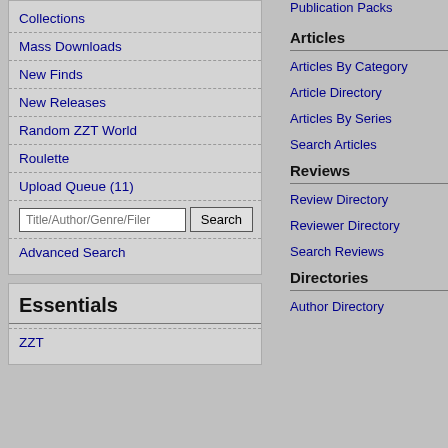Collections
Mass Downloads
New Finds
New Releases
Random ZZT World
Roulette
Upload Queue (11)
Title/Author/Genre/Filer [Search input] [Search button]
Advanced Search
Essentials
ZZT
Publication Packs
Articles
Articles By Category
Article Directory
Articles By Series
Search Articles
Reviews
Review Directory
Reviewer Directory
Search Reviews
Directories
Author Directory